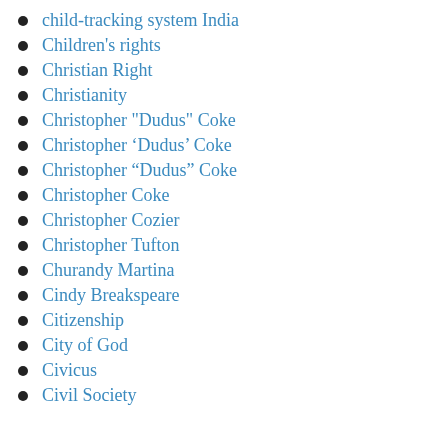child-tracking system India
Children's rights
Christian Right
Christianity
Christopher "Dudus" Coke
Christopher ‘Dudus’ Coke
Christopher “Dudus” Coke
Christopher Coke
Christopher Cozier
Christopher Tufton
Churandy Martina
Cindy Breakspeare
Citizenship
City of God
Civicus
Civil Society